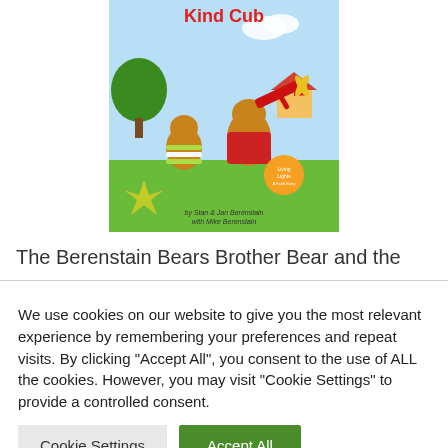[Figure (illustration): Book cover of The Berenstain Bears - Kind Cub, showing two bear characters with a red toy airplane on a green background, by Stan & Jan Berenstain with Mike Berenstain]
The Berenstain Bears Brother Bear and the
We use cookies on our website to give you the most relevant experience by remembering your preferences and repeat visits. By clicking “Accept All”, you consent to the use of ALL the cookies. However, you may visit "Cookie Settings" to provide a controlled consent.
Cookie Settings | Accept All